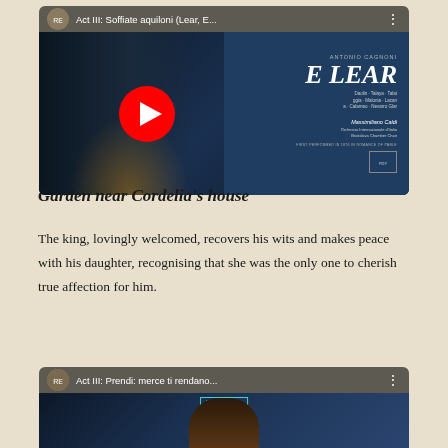[Figure (screenshot): YouTube video thumbnail for 'Act III: Soffiate aquiloni (Lear, E...' showing an opera album cover for Antonio Cagnoni's Re Lear with a play button overlay. Dark blue background with album artwork visible.]
Garden near Cordelia's house
The king, lovingly welcomed, recovers his wits and makes peace with his daughter, recognising that she was the only one to cherish true affection for him.
[Figure (screenshot): YouTube video thumbnail for 'Act III: Prendi: merce ti rendano...' partially visible at bottom of page, showing opera performance with Dynamic label.]